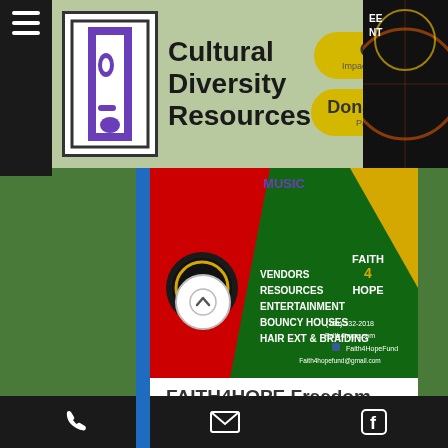[Figure (logo): Cultural Diversity Resources logo with stylized face in purple/white box, hamburger menu icon on left, yellow Give and Donate Now buttons on right]
[Figure (infographic): Faith4Hope Freedom Celebration event flyer with red and green background, showing DANCE circle, VENDORS, RESOURCES, ENTERTAINMENT, BOUNCY HOUSES, HAIR EXT & BRAIDING text, and contact info (701) 532-2018, Faith4hope.com, Faith4HopeFund, Faith4hopefund@gmail.com]
FAITH4HOPE Freedom Celebration
Where?
1321 19th Ave N- Fargo, ND 58102
When?
Saturday, June 18
12:00 pm - 7:00 pm
[Figure (other): Black footer bar with phone icon, email icon, and Facebook icon]